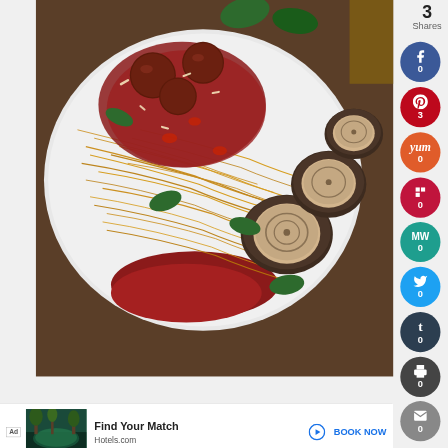[Figure (photo): A plate of spaghetti with meatballs in tomato sauce, mushrooms, basil leaves, and grated cheese on a white plate]
3
Shares
Facebook 0
Pinterest 3
Yum 0
Flipboard 0
MeWe 0
Twitter 0
Tumblr 0
Print 0
Email 0
Ad Find Your Match Hotels.com BOOK NOW